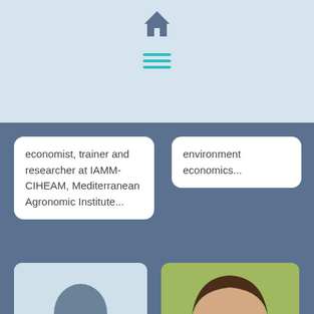[Figure (other): Home icon (house) in dark steel blue]
[Figure (other): Hamburger menu icon with three teal horizontal lines]
economist, trainer and researcher at IAMM-CIHEAM, Mediterranean Agronomic Institute...
environment economics...
[Figure (photo): Silhouette placeholder image of a person on light blue background]
[Figure (photo): Portrait photo of a woman with brown hair smiling outdoors with green foliage background]